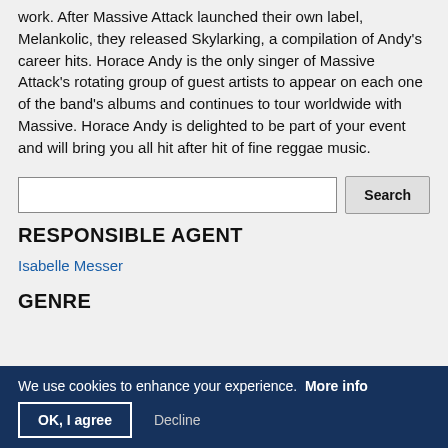work. After Massive Attack launched their own label, Melankolic, they released Skylarking, a compilation of Andy's career hits. Horace Andy is the only singer of Massive Attack's rotating group of guest artists to appear on each one of the band's albums and continues to tour worldwide with Massive. Horace Andy is delighted to be part of your event and will bring you all hit after hit of fine reggae music.
RESPONSIBLE AGENT
Isabelle Messer
GENRE
We use cookies to enhance your experience. More info
OK, I agree   Decline